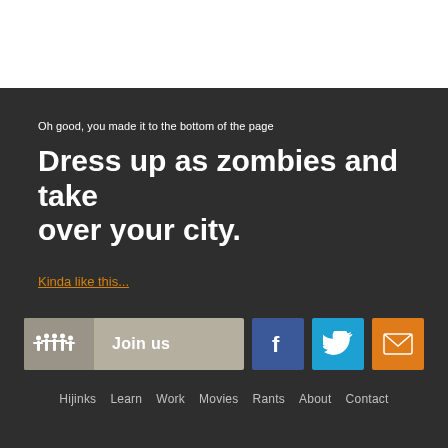Oh good, you made it to the bottom of the page
Dress up as zombies and take over your city.
Kinda like this...
[Figure (other): Join us button with people icon, Facebook button, Twitter button, and email button]
Hijinks  Learn  Work  Movies  Rants  About  Contact